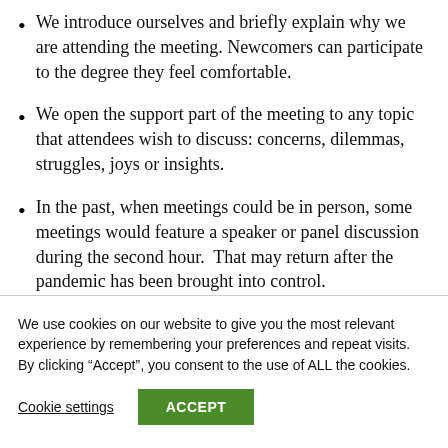We introduce ourselves and briefly explain why we are attending the meeting. Newcomers can participate to the degree they feel comfortable.
We open the support part of the meeting to any topic that attendees wish to discuss: concerns, dilemmas, struggles, joys or insights.
In the past, when meetings could be in person, some meetings would feature a speaker or panel discussion during the second hour.  That may return after the pandemic has been brought into control.
We use cookies on our website to give you the most relevant experience by remembering your preferences and repeat visits. By clicking “Accept”, you consent to the use of ALL the cookies.
Cookie settings | ACCEPT